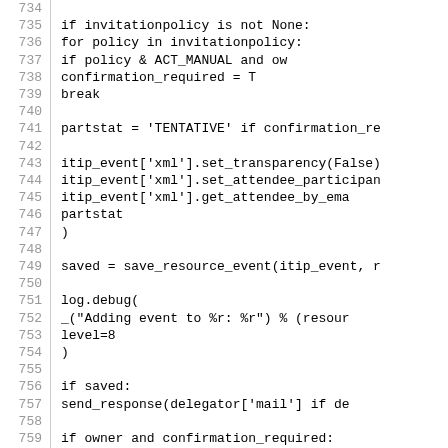[Figure (screenshot): Source code listing showing Python code lines 734–763, with line numbers in a left column and code content on the right. The code handles invitation policy, partstat, itip_event transparency/attendee participation, saving resource events, logging, and sending responses/notifications.]